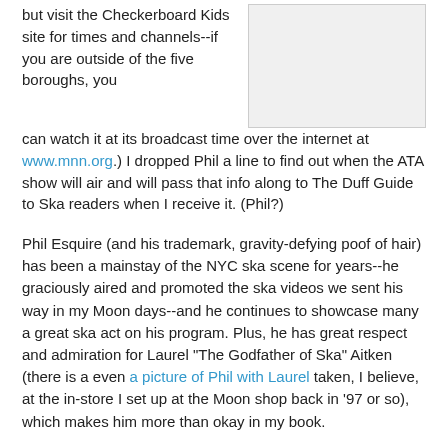but visit the Checkerboard Kids site for times and channels--if you are outside of the five boroughs, you can watch it at its broadcast time over the internet at www.mnn.org.) I dropped Phil a line to find out when the ATA show will air and will pass that info along to The Duff Guide to Ska readers when I receive it. (Phil?)
[Figure (photo): Image placeholder box (light gray rectangle)]
Phil Esquire (and his trademark, gravity-defying poof of hair) has been a mainstay of the NYC ska scene for years--he graciously aired and promoted the ska videos we sent his way in my Moon days--and he continues to showcase many a great ska act on his program. Plus, he has great respect and admiration for Laurel "The Godfather of Ska" Aitken (there is a even a picture of Phil with Laurel taken, I believe, at the in-store I set up at the Moon shop back in '97 or so), which makes him more than okay in my book.
Here is the Checkerboard Kids promo to give you some flava...